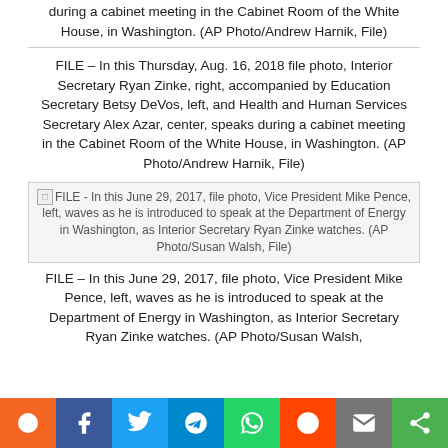during a cabinet meeting in the Cabinet Room of the White House, in Washington. (AP Photo/Andrew Harnik, File)
FILE – In this Thursday, Aug. 16, 2018 file photo, Interior Secretary Ryan Zinke, right, accompanied by Education Secretary Betsy DeVos, left, and Health and Human Services Secretary Alex Azar, center, speaks during a cabinet meeting in the Cabinet Room of the White House, in Washington. (AP Photo/Andrew Harnik, File)
[Figure (photo): FILE - In this June 29, 2017, file photo, Vice President Mike Pence, left, waves as he is introduced to speak at the Department of Energy in Washington, as Interior Secretary Ryan Zinke watches. (AP Photo/Susan Walsh, File)]
FILE – In this June 29, 2017, file photo, Vice President Mike Pence, left, waves as he is introduced to speak at the Department of Energy in Washington, as Interior Secretary Ryan Zinke watches. (AP Photo/Susan Walsh,